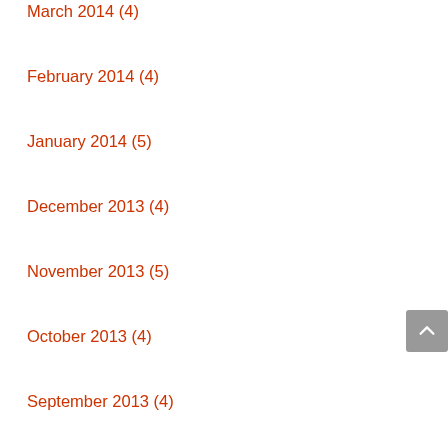March 2014 (4)
February 2014 (4)
January 2014 (5)
December 2013 (4)
November 2013 (5)
October 2013 (4)
September 2013 (4)
August 2013 (5)
July 2013 (4)